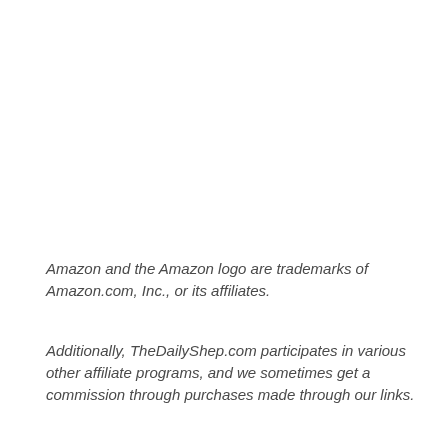Amazon and the Amazon logo are trademarks of Amazon.com, Inc., or its affiliates.
Additionally, TheDailyShep.com participates in various other affiliate programs, and we sometimes get a commission through purchases made through our links.